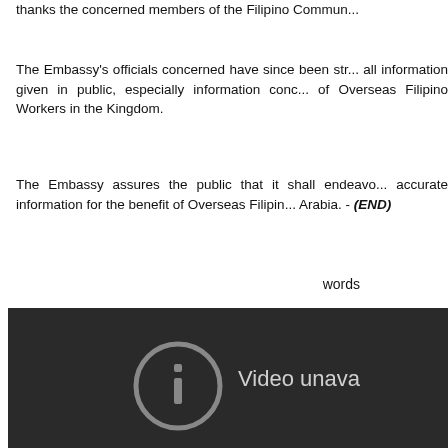thanks the concerned members of the Filipino Commun...
The Embassy's officials concerned have since been str... all information given in public, especially information conc... of Overseas Filipino Workers in the Kingdom.
The Embassy assures the public that it shall endeavo... accurate information for the benefit of Overseas Filipin... Arabia. - (END)
words
[Figure (screenshot): Dark video player showing 'Video unavailable' message with a circular info icon]